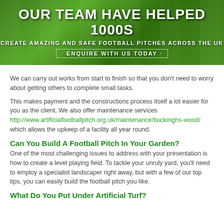[Figure (illustration): Green football pitch banner with text: OUR TEAM HAVE HELPED 1000S / CREATE AMAZING AND SAFE FOOTBALL PITCHES ACROSS THE UK / · ENQUIRE WITH US TODAY ·]
We can carry out works from start to finish so that you don't need to worry about getting others to complete small tasks.
This makes payment and the constructions process itself a lot easier for you as the client. We also offer maintenance services http://www.artificialfootballpitch.org.uk/maintenance/buckinghs-wood/ which allows the upkeep of a facility all year round.
Can You Build A Football Pitch In Your Garden?
One of the most challenging issues to address with your presentation is how to create a level playing field. To tackle your unruly yard, you'll need to employ a specialist landscaper right away, but with a few of our top tips, you can easily build the football pitch you like.
What Do You Put Under Artificial Turf?